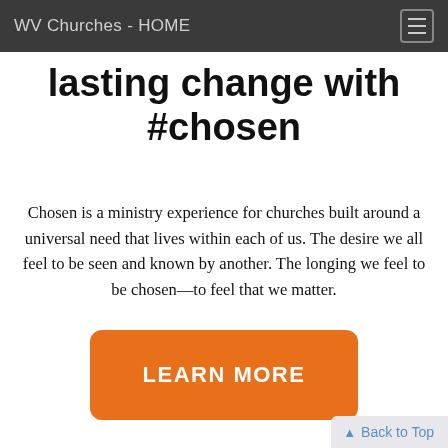WV Churches - HOME
lasting change with #chosen
Chosen is a ministry experience for churches built around a universal need that lives within each of us. The desire we all feel to be seen and known by another. The longing we feel to be chosen—to feel that we matter.
LEARN MORE
Back to Top